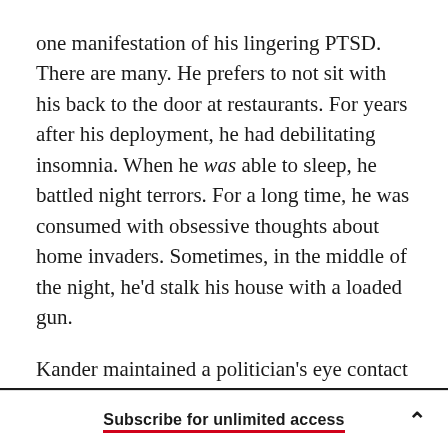one manifestation of his lingering PTSD. There are many. He prefers to not sit with his back to the door at restaurants. For years after his deployment, he had debilitating insomnia. When he was able to sleep, he battled night terrors. For a long time, he was consumed with obsessive thoughts about home invaders. Sometimes, in the middle of the night, he'd stalk his house with a loaded gun.
Kander maintained a politician's eye contact and sat ramrod straight in the bedroom turned home office he and Diana share. But then his gaze drifted and his posture slipped as he started to talk about
Subscribe for unlimited access